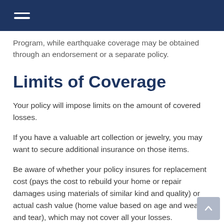Program, while earthquake coverage may be obtained through an endorsement or a separate policy.
Limits of Coverage
Your policy will impose limits on the amount of covered losses.
If you have a valuable art collection or jewelry, you may want to secure additional insurance on those items.
Be aware of whether your policy insures for replacement cost (pays the cost to rebuild your home or repair damages using materials of similar kind and quality) or actual cash value (home value based on age and wear and tear), which may not cover all your losses.